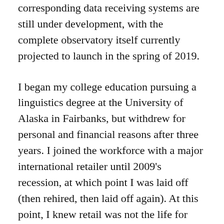corresponding data receiving systems are still under development, with the complete observatory itself currently projected to launch in the spring of 2019.
I began my college education pursuing a linguistics degree at the University of Alaska in Fairbanks, but withdrew for personal and financial reasons after three years. I joined the workforce with a major international retailer until 2009's recession, at which point I was laid off (then rehired, then laid off again). At this point, I knew retail was not the life for me. I decided to go all-in and chase my passion: SPACE! I started community college at both Golden West College (GWC) and Orange Coast College (OCC) in Orange County, California. It